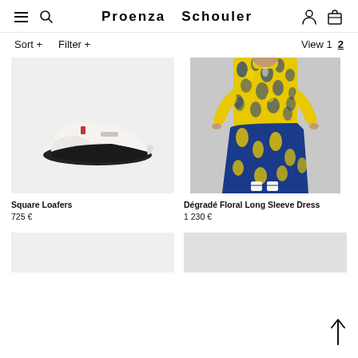Proenza Schouler
Sort +   Filter +   View 1  2
[Figure (photo): White square-toe loafers with black sole on light grey background]
Square Loafers
725 €
[Figure (photo): Model wearing a yellow and blue degradé floral long sleeve dress with white sandals, grey background]
Dégradé Floral Long Sleeve Dress
1 230 €
[Figure (photo): Partial product card at bottom left (cut off)]
[Figure (photo): Partial product card at bottom right (cut off)]